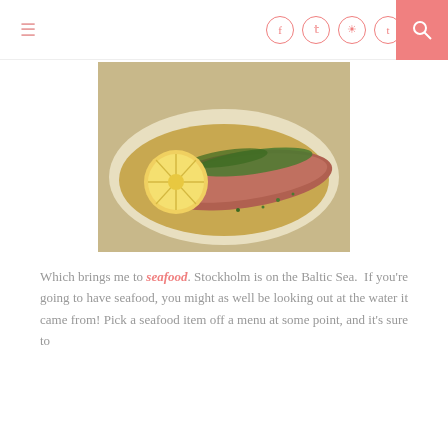Navigation bar with hamburger menu, social icons (Facebook, Twitter, Instagram, Tumblr, Pinterest), and search button
[Figure (photo): A cooked fish fillet on a white plate, garnished with chopped green herbs and served with a lemon slice, in a golden butter sauce]
Which brings me to seafood. Stockholm is on the Baltic Sea. If you're going to have seafood, you might as well be looking out at the water it came from! Pick a seafood item off a menu at some point, and it's sure to